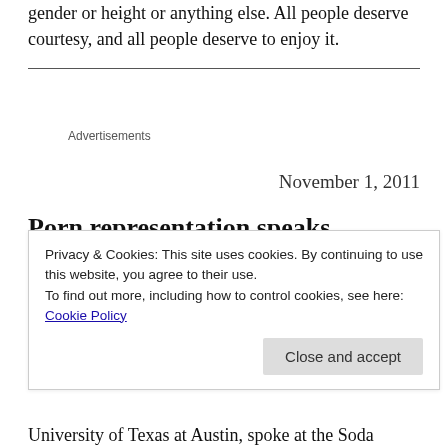gender or height or anything else. All people deserve courtesy, and all people deserve to enjoy it.
Advertisements
November 1, 2011
Porn representation speaks
Privacy & Cookies: This site uses cookies. By continuing to use this website, you agree to their use.
To find out more, including how to control cookies, see here:
Cookie Policy
Close and accept
University of Texas at Austin, spoke at the Soda